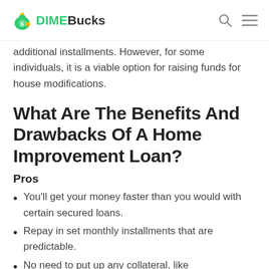DIMEBucks
additional installments. However, for some individuals, it is a viable option for raising funds for house modifications.
What Are The Benefits And Drawbacks Of A Home Improvement Loan?
Pros
You'll get your money faster than you would with certain secured loans.
Repay in set monthly installments that are predictable.
No need to put up any collateral, like